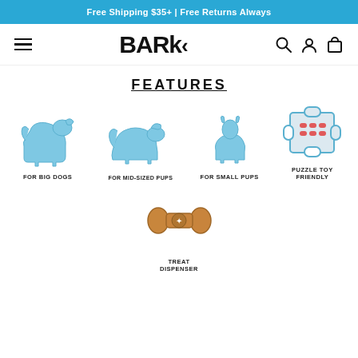Free Shipping $35+ | Free Returns Always
[Figure (logo): BARK logo with hamburger menu and navigation icons (search, account, cart)]
FEATURES
[Figure (infographic): Four feature icons in a row: blue dog silhouette (For Big Dogs), blue medium dog silhouette (For Mid-Sized Pups), blue small dog/cat silhouette (For Small Pups), puzzle toy with red dots (Puzzle Toy Friendly). Below: a bone-shaped treat dispenser (Treat Dispenser).]